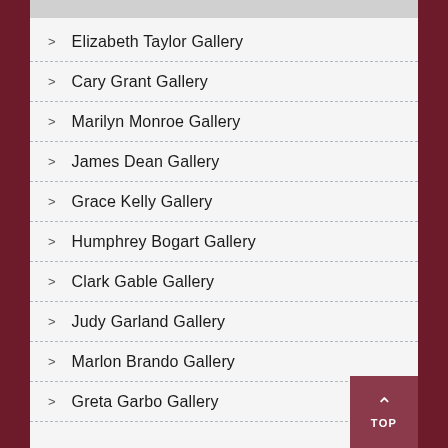Elizabeth Taylor Gallery
Cary Grant Gallery
Marilyn Monroe Gallery
James Dean Gallery
Grace Kelly Gallery
Humphrey Bogart Gallery
Clark Gable Gallery
Judy Garland Gallery
Marlon Brando Gallery
Greta Garbo Gallery